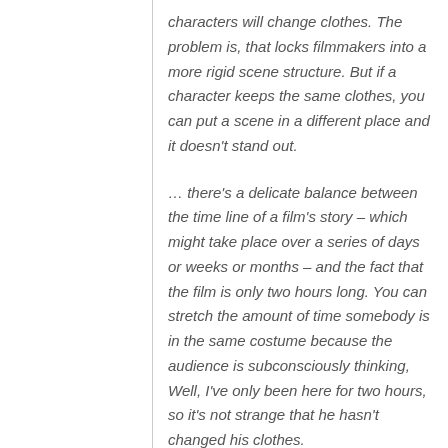characters will change clothes. The problem is, that locks filmmakers into a more rigid scene structure. But if a character keeps the same clothes, you can put a scene in a different place and it doesn't stand out.
… there's a delicate balance between the time line of a film's story – which might take place over a series of days or weeks or months – and the fact that the film is only two hours long. You can stretch the amount of time somebody is in the same costume because the audience is subconsciously thinking, Well, I've only been here for two hours, so it's not strange that he hasn't changed his clothes.